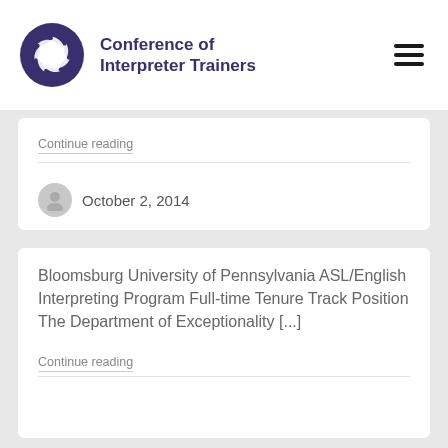Conference of Interpreter Trainers
Continue reading
October 2, 2014
Bloomsburg University of Pennsylvania ASL/English Interpreting Program Full-time Tenure Track Position The Department of Exceptionality [...]
Continue reading